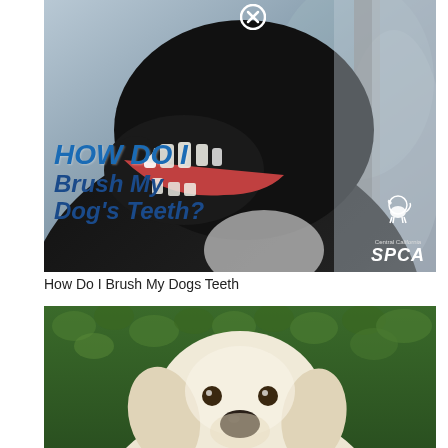[Figure (photo): Dark dog with open mouth hanging out of car window, viewed from below. Text overlay reads 'HOW DO I Brush My Dog's Teeth?' in blue italic bold font. Central California SPCA logo in bottom right. Close/X button circle at top center.]
How Do I Brush My Dogs Teeth
[Figure (photo): White/cream colored dog (Golden Retriever) looking up at camera with green leafy hedge background. Close/X button circle at bottom center.]